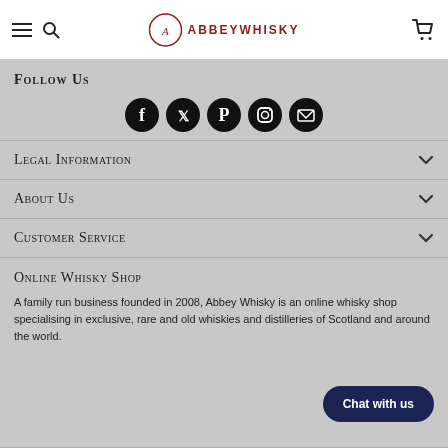ABBEYWHISKY
Follow Us
[Figure (illustration): Social media icons: Facebook, Twitter, Pinterest, Instagram, Email]
Legal Information
About Us
Customer Service
Online Whisky Shop
A family run business founded in 2008, Abbey Whisky is an online whisky shop specialising in exclusive, rare and old whiskies and distilleries of Scotland and around the world.